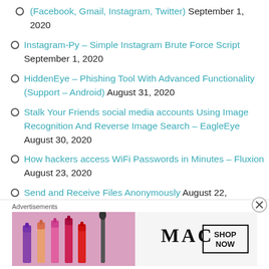(Facebook, Gmail, Instagram, Twitter) September 1, 2020
Instagram-Py – Simple Instagram Brute Force Script September 1, 2020
HiddenEye – Phishing Tool With Advanced Functionality (Support – Android) August 31, 2020
Stalk Your Friends social media accounts Using Image Recognition And Reverse Image Search – EagleEye August 30, 2020
How hackers access WiFi Passwords in Minutes – Fluxion August 23, 2020
Send and Receive Files Anonymously August 22, 2020
Advertisements
[Figure (illustration): MAC cosmetics advertisement banner showing lipsticks with 'MAC' logo and 'SHOP NOW' button]